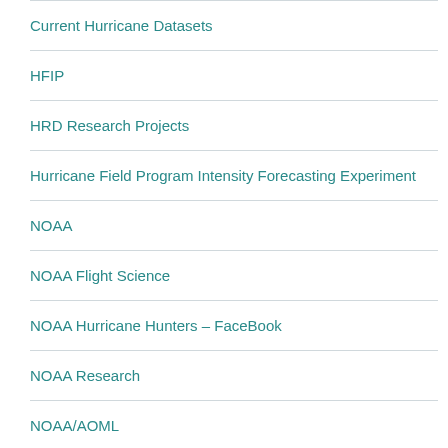Current Hurricane Datasets
HFIP
HRD Research Projects
Hurricane Field Program Intensity Forecasting Experiment
NOAA
NOAA Flight Science
NOAA Hurricane Hunters – FaceBook
NOAA Research
NOAA/AOML
NOAA/AOML Hurricane Research Division (HRD)